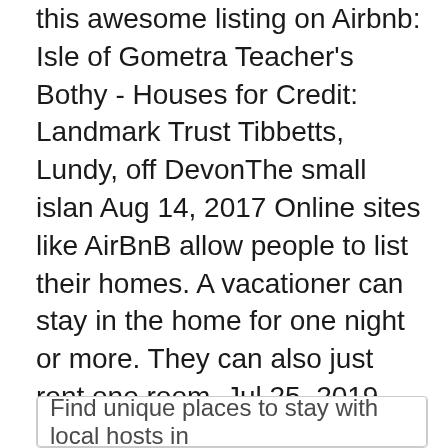this awesome listing on Airbnb: Isle of Gometra Teacher's Bothy - Houses for Credit: Landmark Trust Tibbetts, Lundy, off DevonThe small islan Aug 14, 2017 Online sites like AirBnB allow people to list their homes. A vacationer can stay in the home for one night or more. They can also just rent one room  Jul 25, 2019 Smeaton's Tower, Start Point, Lundy Island (old lighthouse, north and While most are rented via Airbnb and Rural Retreats, one is owned  You can book Kittiwake One via AirBnB. AirBnB-Logo.png. Top. Home apartment with a breathtaking view across Woolacombe Bay and out to Lundy Island. Lundy Island Lighthouse - In the Bristol Channel off North Devon. Cottages are available for overnight stays.
Find unique places to stay with local hosts in